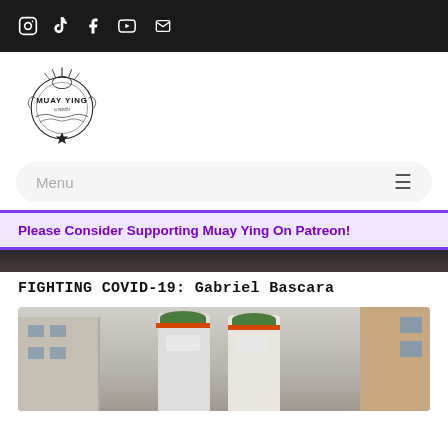Social media icons: Instagram, TikTok, Facebook, YouTube, Email
[Figure (logo): Muay Ying logo — decorative emblem with crown/temple motif and Thai script, text MUAY YING]
Menu
Please Consider Supporting Muay Ying On Patreon!
[Figure (photo): Partial top strip of an image, dark background]
FIGHTING COVID-19: Gabriel Bascara
[Figure (photo): Two people wearing green surgical caps, orange-banded face shields, and white masks, standing outdoors in what appears to be a European town setting]